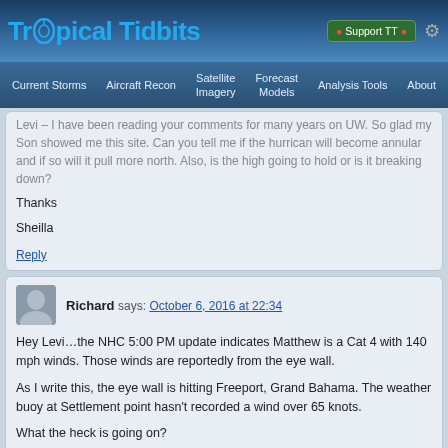Tropical Tidbits — website header with navigation: Current Storms, Aircraft Recon, Satellite Imagery, Forecast Models, Analysis Tools, About
Levi – I have been reading your comments for many years on UW. So glad my Son showed me this site. Can you tell me if the hurrican will become annular and if so will it pull more north. Also, is the high going to hold or is it breaking down?

Thanks

Sheilla
Reply
Richard says: October 6, 2016 at 22:34
Hey Levi…the NHC 5:00 PM update indicates Matthew is a Cat 4 with 140 mph winds. Those winds are reportedly from the eye wall.

As I write this, the eye wall is hitting Freeport, Grand Bahama. The weather buoy at Settlement point hasn't recorded a wind over 65 knots.

What the heck is going on?
Reply
Levi says: October 6, 2016 at 22:38